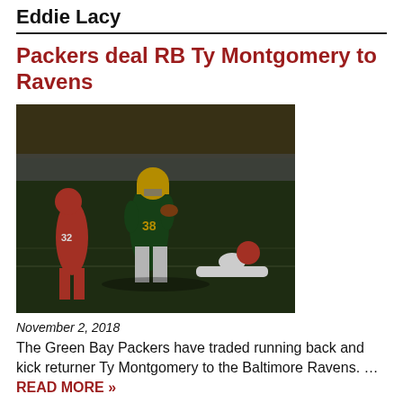Eddie Lacy
Packers deal RB Ty Montgomery to Ravens
[Figure (photo): Green Bay Packers running back #38 Ty Montgomery running with the football, evading San Francisco 49ers defenders including #32 on a football field at night]
November 2, 2018
The Green Bay Packers have traded running back and kick returner Ty Montgomery to the Baltimore Ravens. … READ MORE »